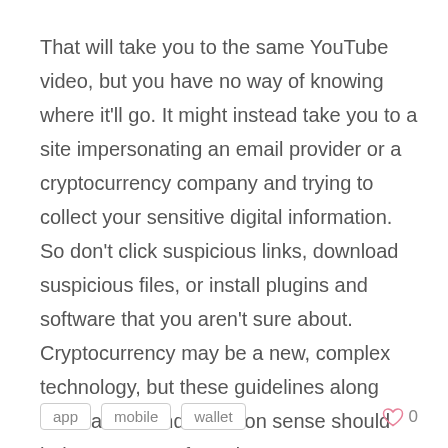That will take you to the same YouTube video, but you have no way of knowing where it'll go. It might instead take you to a site impersonating an email provider or a cryptocurrency company and trying to collect your sensitive digital information. So don't click suspicious links, download suspicious files, or install plugins and software that you aren't sure about. Cryptocurrency may be a new, complex technology, but these guidelines along with caution and common sense should help you stay safe and secure.
app   mobile   wallet   ♡ 0